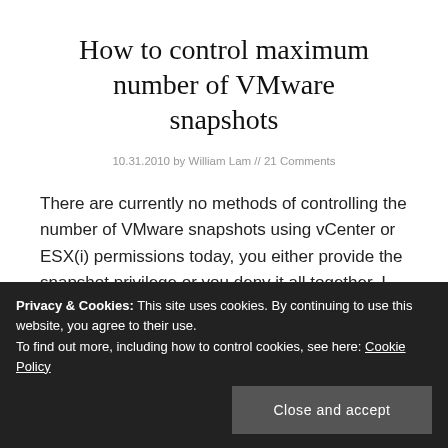How to control maximum number of VMware snapshots
10.31.2010 by William Lam // 21 Comments
There are currently no methods of controlling the number of VMware snapshots using vCenter or ESX(i) permissions today, you either provide the snapshot privilege or you deny it all together. I recently discovered an undocumented .vmx entry
Privacy & Cookies: This site uses cookies. By continuing to use this website, you agree to their use.
To find out more, including how to control cookies, see here: Cookie Policy
Close and accept
up to a maximum of 496 snapshots